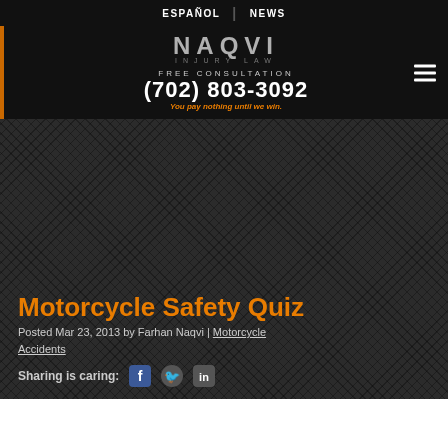ESPAÑOL | NEWS
[Figure (logo): Naqvi Injury Law logo with phone number (702) 803-3092 and tagline 'You pay nothing until we win.']
Motorcycle Safety Quiz
Posted Mar 23, 2013 by Farhan Naqvi | Motorcycle Accidents
Sharing is caring: [Facebook] [Twitter] [LinkedIn]